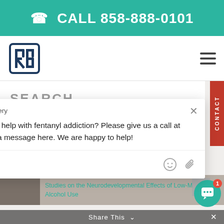📞 CALL 858-888-0101
[Figure (logo): Boardwalk Recovery logo — stylized RB letters in dark navy]
SEARCH
Search site
Thomas from Boardwalk Recovery
Do you or a loved one need help with fentanyl addiction? Please give us a call at (844) 394-8722 or send us a message here. We are happy to help!
Reply to Thomas...
RECENT POSTS
Studies on the Neurodevelopmental Effects of Low-Moderate Alcohol Use
Share This